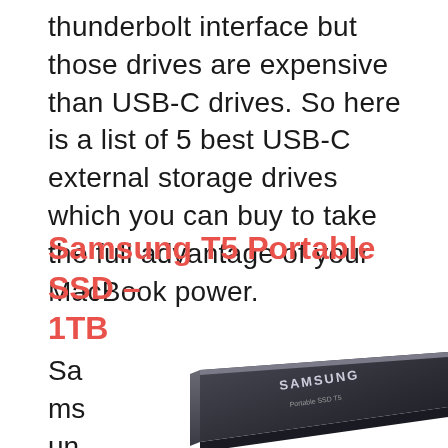thunderbolt interface but those drives are expensive than USB-C drives. So here is a list of 5 best USB-C external storage drives which you can buy to take the full advantage of your MacBook power.
Samsung T5 Portable SSD – 1TB
Samsung has
[Figure (photo): Samsung T5 Portable SSD device shown at an angle, dark gray/black color with SAMSUNG branding and 'Portable SSD T5' text on the surface]